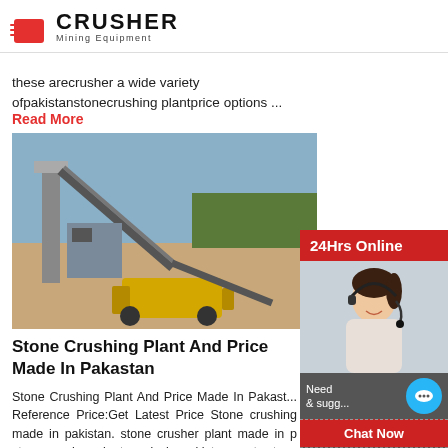CRUSHER Mining Equipment
these arecrusher a wide variety ofpakistanstonecrushing plantprice options ...
Read More
[Figure (photo): Stone crushing plant machinery at an outdoor mining site with conveyors and equipment]
Stone Crushing Plant And Price Made In Pakastan
Stone Crushing Plant And Price Made In Pakastan Reference Price:Get Latest Price Stone crushing made in pakistan. stone crusher plant made in pakistan. stone crusher plant made in pakistan cost. stone machine plant made in china us 30000 80000 s order s. do you want to show stone crushing pla on the product of ...
[Figure (photo): 24Hrs Online customer support representative (woman with headset)]
Need & suggestions
Chat Now
Enquiry
limingjlmofen@sina.com